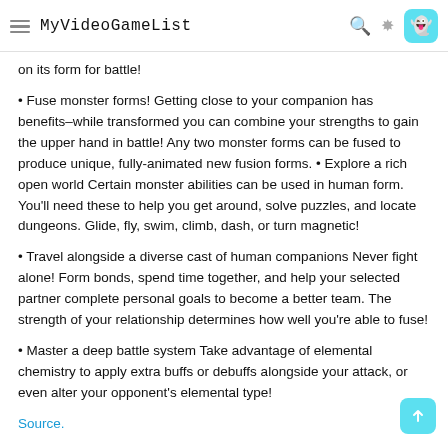MyVideoGameList
on its form for battle!
Fuse monster forms! Getting close to your companion has benefits–while transformed you can combine your strengths to gain the upper hand in battle! Any two monster forms can be fused to produce unique, fully-animated new fusion forms. • Explore a rich open world Certain monster abilities can be used in human form. You'll need these to help you get around, solve puzzles, and locate dungeons. Glide, fly, swim, climb, dash, or turn magnetic!
Travel alongside a diverse cast of human companions Never fight alone! Form bonds, spend time together, and help your selected partner complete personal goals to become a better team. The strength of your relationship determines how well you're able to fuse!
Master a deep battle system Take advantage of elemental chemistry to apply extra buffs or debuffs alongside your attack, or even alter your opponent's elemental type!
Source.